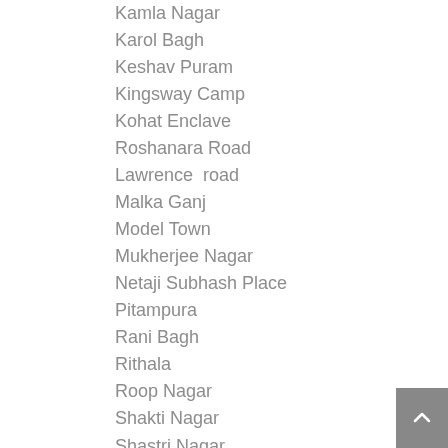Kamla Nagar
Karol Bagh
Keshav Puram
Kingsway Camp
Kohat Enclave
Roshanara Road
Lawrence  road
Malka Ganj
Model Town
Mukherjee Nagar
Netaji Subhash Place
Pitampura
Rani Bagh
Rithala
Roop Nagar
Shakti Nagar
Shastri Nagar
Vidhan Sabha
Wazirpur
Weavers Colony
Arya Pura
Rajiv Chowk
Vasant Kunj